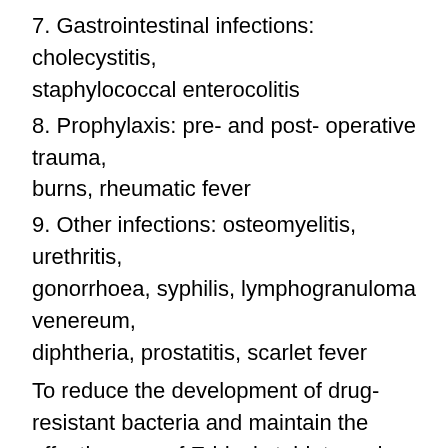7. Gastrointestinal infections: cholecystitis, staphylococcal enterocolitis
8. Prophylaxis: pre- and post- operative trauma, burns, rheumatic fever
9. Other infections: osteomyelitis, urethritis, gonorrhoea, syphilis, lymphogranuloma venereum, diphtheria, prostatitis, scarlet fever
To reduce the development of drug-resistant bacteria and maintain the effectiveness of Eridosis tablets and other antibacterial drugs, Eridosis tablets should be used only to treat or prevent infections that are proven or strongly suspected to be caused by susceptible bacteria. When culture and susceptibility information are available, they should be considered in selecting or modifying antibacterial therapy. In the absence of such data,